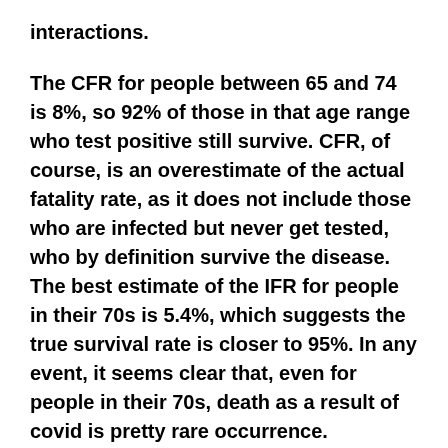interactions.
The CFR for people between 65 and 74 is 8%, so 92% of those in that age range who test positive still survive. CFR, of course, is an overestimate of the actual fatality rate, as it does not include those who are infected but never get tested, who by definition survive the disease. The best estimate of the IFR for people in their 70s is 5.4%, which suggests the true survival rate is closer to 95%. In any event, it seems clear that, even for people in their 70s, death as a result of covid is pretty rare occurrence.
The other thing I would want to know is how likely is it that any random person I come into contact with is infected, and thus puts me in